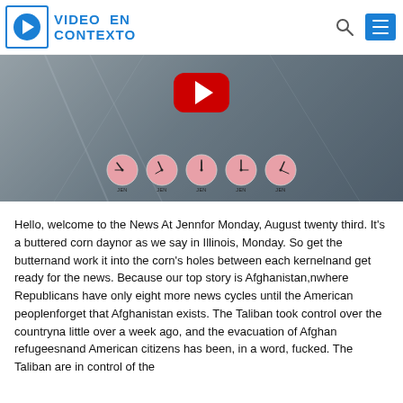VIDEO EN CONTEXTO
[Figure (screenshot): Video thumbnail showing aerial view with five pink analog clocks labeled JEN at the bottom and a YouTube play button in the center top area.]
Hello, welcome to the News At Jennfor Monday, August twenty third. It's a buttered corn daynor as we say in Illinois, Monday. So get the butternand work it into the corn's holes between each kernelnand get ready for the news. Because our top story is Afghanistan,nwhere Republicans have only eight more news cycles until the American peoplenforget that Afghanistan exists. The Taliban took control over the countryna little over a week ago, and the evacuation of Afghan refugeesnand American citizens has been, in a word, fucked. The Taliban are in control of the